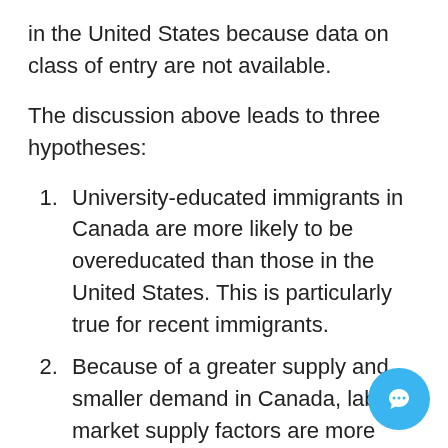in the United States because data on class of entry are not available.
The discussion above leads to three hypotheses:
University-educated immigrants in Canada are more likely to be overeducated than those in the United States. This is particularly true for recent immigrants.
Because of a greater supply and smaller demand in Canada, labour market supply factors are more positively associated with over-education among